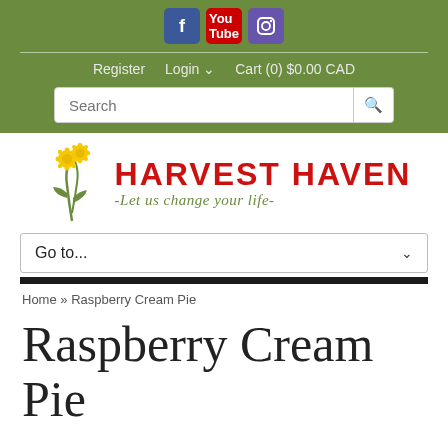Social icons: Facebook, YouTube, Instagram
Register  Login  Cart (0) $0.00 CAD
Search
[Figure (logo): Harvest Haven logo with dandelion illustration and text: HARVEST HAVEN - Let us change your life -]
Go to...
Home » Raspberry Cream Pie
Raspberry Cream Pie